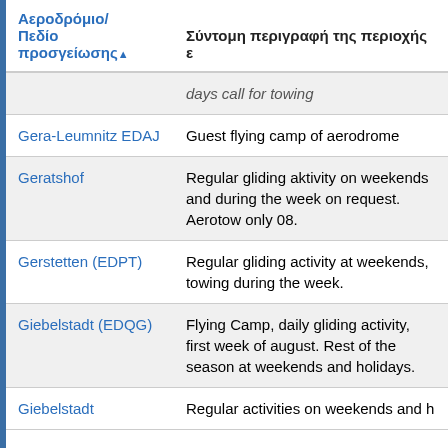| Αεροδρόμιο/Πεδίο προσγείωσης▲ | Σύντομη περιγραφή της περιοχής |
| --- | --- |
|  | days call for towing |
| Gera-Leumnitz EDAJ | Guest flying camp of aerodrome |
| Geratshof | Regular gliding aktivity on weekends and during the week on request. Aerotow only 08. |
| Gerstetten (EDPT) | Regular gliding activity at weekends, towing during the week. |
| Giebelstadt (EDQG) | Flying Camp, daily gliding activity, first week of august. Rest of the season at weekends and holidays. |
| Giebelstadt | Regular activities on weekends and h |